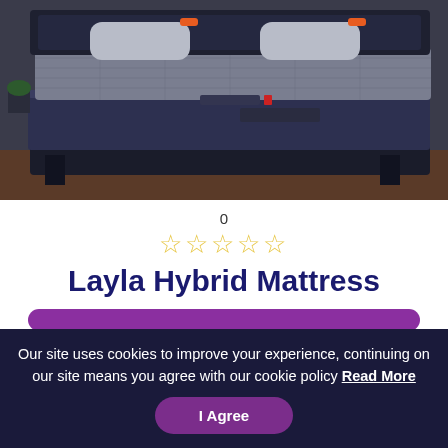[Figure (photo): Photo of a Layla Hybrid Mattress on an adjustable bed frame with grey pillows, in a dark bedroom setting. The mattress has a grey/dark blue quilted cover with 'Layla' branding on the side.]
0
[Figure (other): Five empty/outline star rating icons in golden/yellow color representing a 0 star rating]
Layla Hybrid Mattress
[Figure (other): Purple rounded rectangle button area, partially cut off at bottom of visible content]
Our site uses cookies to improve your experience, continuing on our site means you agree with our cookie policy Read More
I Agree